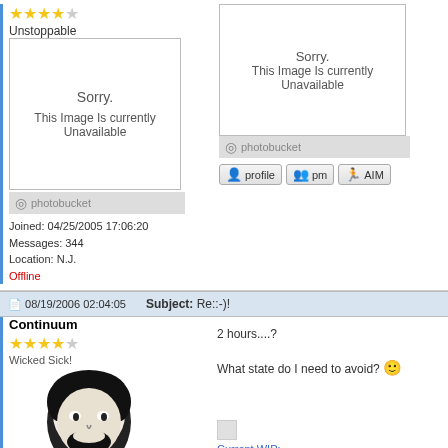[Figure (screenshot): Forum post top section with photobucket unavailable images, user Unstoppable with 4 stars, joined 04/25/2005, 344 messages, Location N.J., Offline]
Unstoppable
Joined: 04/25/2005 17:06:20
Messages: 344
Location: N.J.
Offline
[Figure (screenshot): Second photobucket unavailable image on right column]
08/19/2006 02:04:05  Subject: Re::-)!
Continuum
Wicked Sick!
Joined: 03/09/2005 05:20:36
Messages: 479
Location: Indianapolis, Indiana
Offline
2 hours....?

What state do I need to avoid?
Current WIP:
Skins: